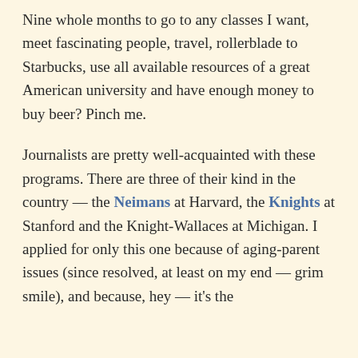Nine whole months to go to any classes I want, meet fascinating people, travel, rollerblade to Starbucks, use all available resources of a great American university and have enough money to buy beer? Pinch me.
Journalists are pretty well-acquainted with these programs. There are three of their kind in the country — the Neimans at Harvard, the Knights at Stanford and the Knight-Wallaces at Michigan. I applied for only this one because of aging-parent issues (since resolved, at least on my end — grim smile), and because, hey — it's the